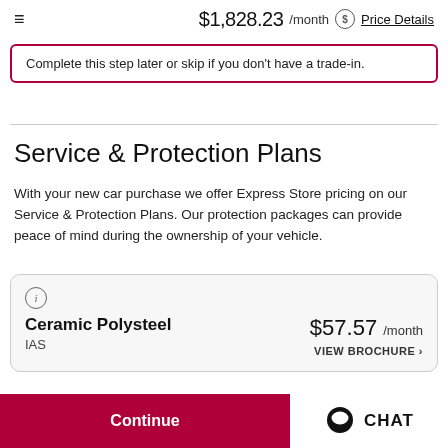≡  $1,828.23 /month ⓢ Price Details
Complete this step later or skip if you don't have a trade-in.
Service & Protection Plans
With your new car purchase we offer Express Store pricing on our Service & Protection Plans. Our protection packages can provide peace of mind during the ownership of your vehicle.
Ceramic Polysteel
IAS
$57.57 /month
VIEW BROCHURE ›
Continue
CHAT